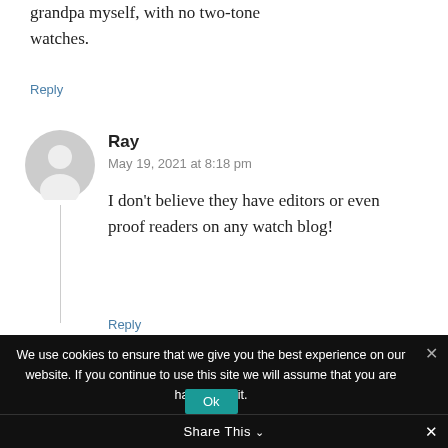grandpa myself, with no two-tone watches.
Reply
Ray
May 19, 2021 at 8:18 pm
I don't believe they have editors or even proof readers on any watch blog!
Reply
We use cookies to ensure that we give you the best experience on our website. If you continue to use this site we will assume that you are happy with it.
Ok
Share This